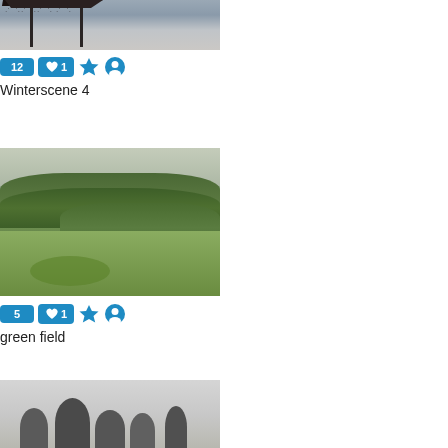[Figure (photo): Winter scene photo cropped at top showing snow, bare tree branches and fence posts against grey sky]
12  ♥1  ★  👤  Winterscene 4
[Figure (photo): Green field with trees and forest in background under overcast sky]
5  ♥1  ★  👤  green field
[Figure (photo): Grey overcast scene with dark gravestones/tombstones silhouetted at bottom]